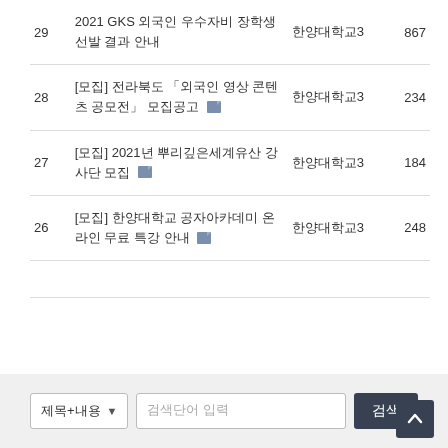| 번호 | 제목 | 작성자 | 조회 |
| --- | --- | --- | --- |
| 29 | 2021 GKS 외국인 우수자비 장학생 선발 결과 안내 | 한양대학교3 | 867 |
| 28 | [모집] 전라북도 「외국인 영상 콘텐츠 공모전」 모집공고 📎 | 한양대학교3 | 234 |
| 27 | [모집] 2021년 뿌리깊은세계유산 강사단 모집 📎 | 한양대학교3 | 184 |
| 26 | [모집] 한양대학교 공자아카데미 온라인 무료 특강 안내 📎 | 한양대학교3 | 248 |
제목+내용 ▼  검색단어 입력  검색